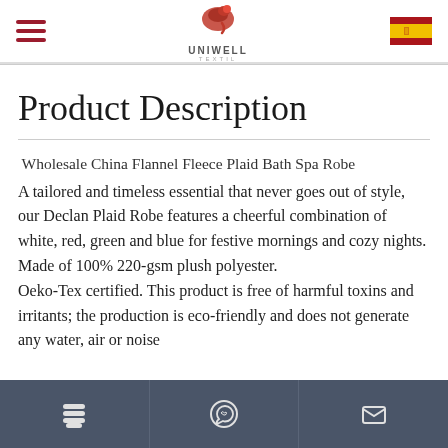Uniwell Textil logo header with hamburger menu and Spain flag
Product Description
Wholesale China Flannel Fleece Plaid Bath Spa Robe
A tailored and timeless essential that never goes out of style, our Declan Plaid Robe features a cheerful combination of white, red, green and blue for festive mornings and cozy nights.
Made of 100% 220-gsm plush polyester.
Oeko-Tex certified. This product is free of harmful toxins and irritants; the production is eco-friendly and does not generate any water, air or noise
Bottom navigation bar with menu, WhatsApp, and email icons